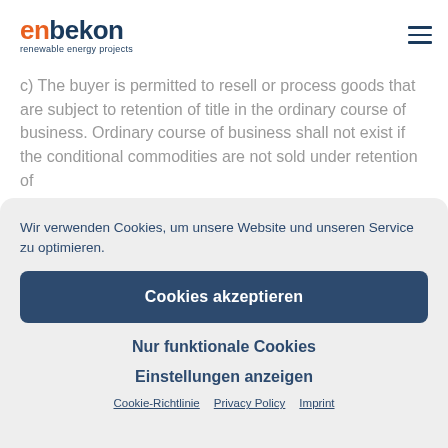enbekon renewable energy projects
c) The buyer is permitted to resell or process goods that are subject to retention of title in the ordinary course of business. Ordinary course of business shall not exist if the conditional commodities are not sold under retention of
Wir verwenden Cookies, um unsere Website und unseren Service zu optimieren.
Cookies akzeptieren
Nur funktionale Cookies
Einstellungen anzeigen
Cookie-Richtlinie  Privacy Policy  Imprint